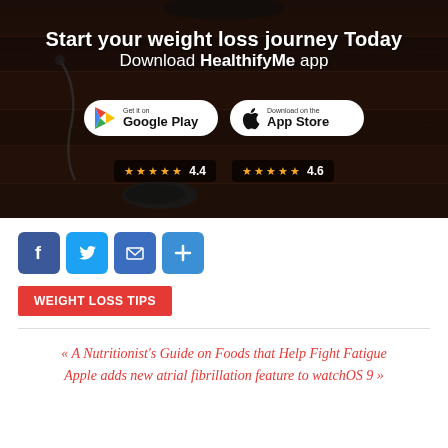[Figure (illustration): HealthifyMe app promotional banner with dark wood floor background. Text: 'Start your weight loss journey Today' and 'Download HealthifyMe app'. Google Play and App Store download buttons shown with star ratings 4.4 and 4.6.]
[Figure (infographic): Social sharing icons: Facebook, Twitter, Email, Share (plus)]
WEIGHT LOSS TIPS
« A Nutritionist's Guide on Foods that Help Fight Fatigue
Apple adds new atrial fibrillation feature to watchOS 9 »